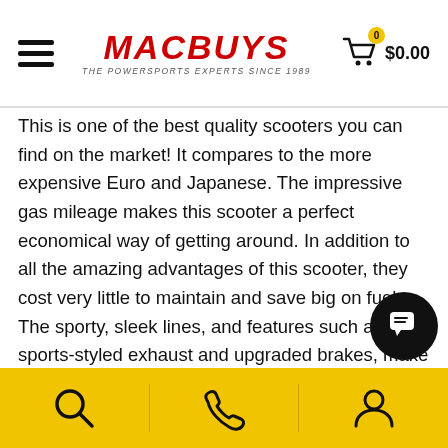MacBUYS - The Powersports Experts Since 1989 | Cart: $0.00
This is one of the best quality scooters you can find on the market! It compares to the more expensive Euro and Japanese. The impressive gas mileage makes this scooter a perfect economical way of getting around. In addition to all the amazing advantages of this scooter, they cost very little to maintain and save big on fuel. The sporty, sleek lines, and features such as sports-styled exhaust and upgraded brakes, make this50cc scooter a popular choice.
The Sorrento scooter has a powerful 4 stroke engine and great performance, making it the ideal Sports Scooter for zipping around town. If you are looking for a reliable, fully loaded 50cc model scooter gets a fuel economy of up to 80+ MPG look no further, this is it! Street Legal: This scooter is a street-legal vehicle in 4